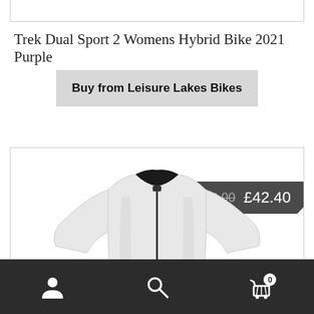[Figure (other): Top card/border element at top of page]
Trek Dual Sport 2 Womens Hybrid Bike 2021 Purple
Buy from Leisure Lakes Bikes
[Figure (photo): White cycling jersey/top with zip, showing price badge with strikethrough £106.00 and sale price £42.40]
Navigation bar with user icon, search icon, and cart icon with badge 0